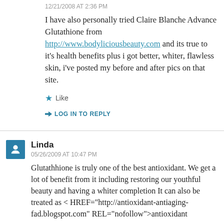12/21/2008 AT 2:36 PM
I have also personally tried Claire Blanche Advance Glutathione from http://www.bodyliciousbeauty.com and its true to it's health benefits plus i got better, whiter, flawless skin, i've posted my before and after pics on that site.
★ Like
→ LOG IN TO REPLY
Linda
05/26/2009 AT 10:47 PM
Glutathhione is truly one of the best antioxidant. We get a lot of benefit from it including restoring our youthful beauty and having a whiter completion It can also be treated as < HREF="http://antioxidant-antiaging-fad.blogspot.com" REL="nofollow">antioxidant